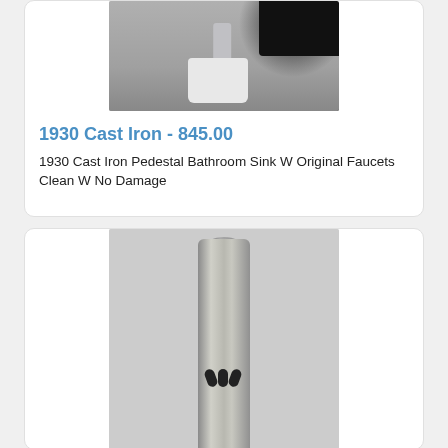[Figure (photo): Close-up photo of a 1930 cast iron pedestal bathroom sink base on a concrete floor, with a dark mat visible in the upper right corner]
1930 Cast Iron - 845.00
1930 Cast Iron Pedestal Bathroom Sink W Original Faucets Clean W No Damage
[Figure (photo): Close-up photo of a metal faucet stem/nozzle with slots or openings near the bottom, against a light background]